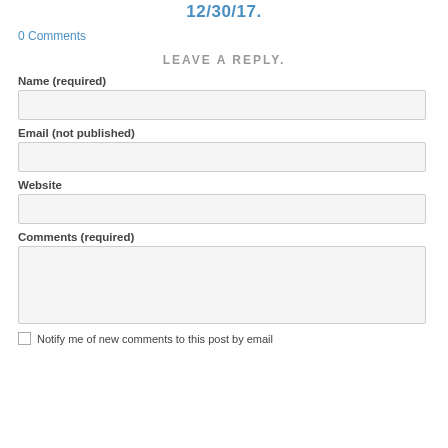12/30/17.
0 Comments
LEAVE A REPLY.
Name (required)
Email (not published)
Website
Comments (required)
Notify me of new comments to this post by email